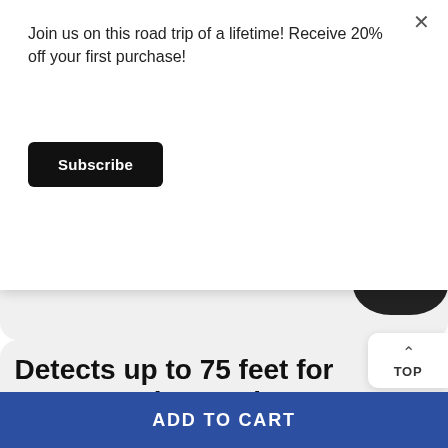Join us on this road trip of a lifetime! Receive 20% off your first purchase!
Subscribe
[Figure (photo): Partial view of a dark-colored round Bluetooth tracker device against a light gray background]
Detects up to 75 feet for up to six months
When powered on, each Anti-Lost Smart Blueto…
TOP
ADD TO CART